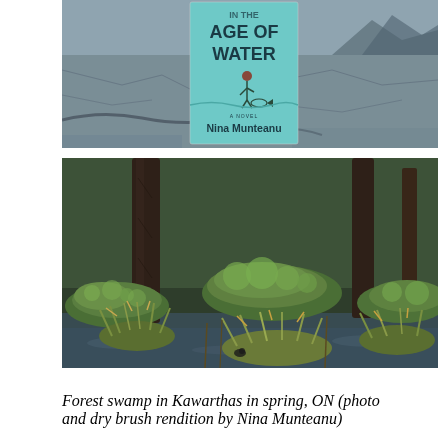[Figure (photo): Top composite image: a desolate tidal flat or dried lakebed with cracked mud, driftwood, and mountains in background (blue-grey tones), with a book cover overlay for 'In the Age of Water, a Novel by Nina Munteanu' centered on the image. The book cover shows a teal/light blue background with large bold text 'AGE OF WATER' and an illustrated bird/creature figure.]
[Figure (photo): Bottom photo: Forest swamp in Kawarthas in spring, Ontario. Shows flooded woodland floor with moss-covered hummocks, grassy tussocks, standing water with reflections, large tree trunks, and dense vegetation. Rich greens and dark browns.]
Forest swamp in Kawarthas in spring, ON (photo and dry brush rendition by Nina Munteanu)